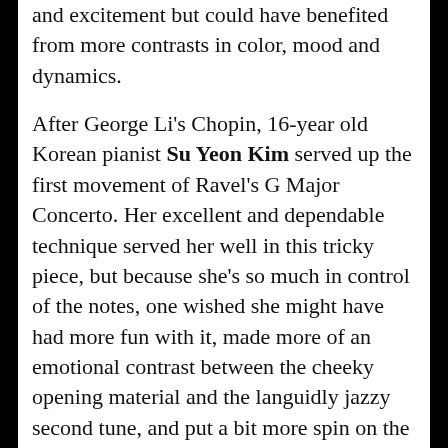and excitement but could have benefited from more contrasts in color, mood and dynamics.
After George Li's Chopin, 16-year old Korean pianist Su Yeon Kim served up the first movement of Ravel's G Major Concerto. Her excellent and dependable technique served her well in this tricky piece, but because she's so much in control of the notes, one wished she might have had more fun with it, made more of an emotional contrast between the cheeky opening material and the languidly jazzy second tune, and put a bit more spin on the decisive scale that suddenly ends the movement.